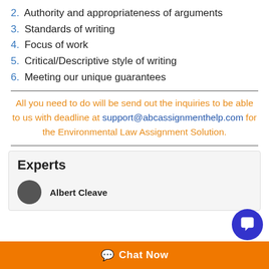2. Authority and appropriateness of arguments
3. Standards of writing
4. Focus of work
5. Critical/Descriptive style of writing
6. Meeting our unique guarantees
All you need to do will be send out the inquiries to be able to us with deadline at support@abcassignmenthelp.com for the Environmental Law Assignment Solution.
Experts
Albert Cleave
Chat Now